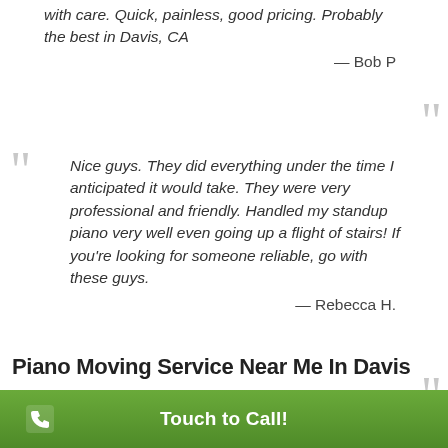with care. Quick, painless, good pricing. Probably the best in Davis, CA
— Bob P
Nice guys. They did everything under the time I anticipated it would take. They were very professional and friendly. Handled my standup piano very well even going up a flight of stairs! If you're looking for someone reliable, go with these guys.
— Rebecca H.
Piano Moving Service Near Me In Davis
Touch to Call!